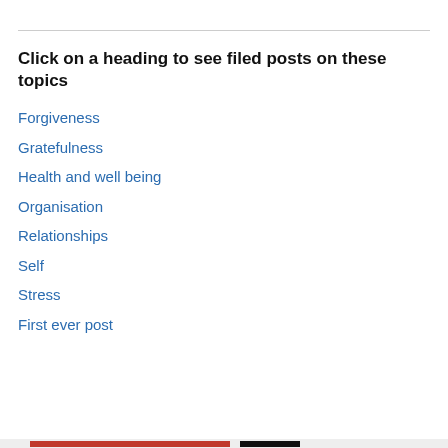Click on a heading to see filed posts on these topics
Forgiveness
Gratefulness
Health and well being
Organisation
Relationships
Self
Stress
First ever post
Privacy & Cookies: This site uses cookies. By continuing to use this website, you agree to their use.
To find out more, including how to control cookies, see here: Cookie Policy
Close and accept